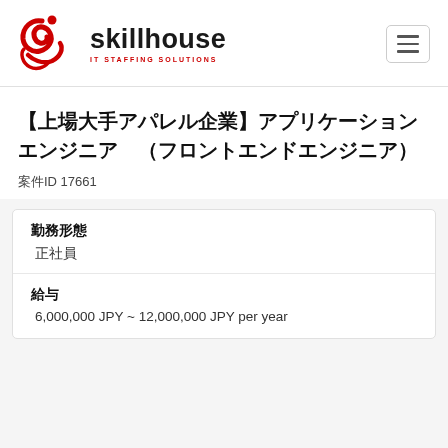[Figure (logo): Skillhouse IT Staffing Solutions logo with red stylized figure and black text]
【上場大手アパレル企業】アプリケーションエンジニア　（フロントエンドエンジニア）
案件ID 17661
| 勤務形態 | 正社員 |
| 給与 | 6,000,000 JPY ~ 12,000,000 JPY per year |